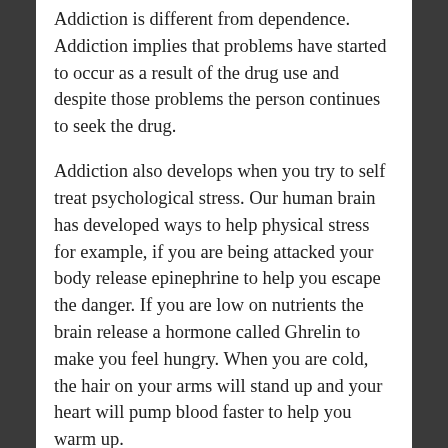Addiction is different from dependence. Addiction implies that problems have started to occur as a result of the drug use and despite those problems the person continues to seek the drug.
Addiction also develops when you try to self treat psychological stress. Our human brain has developed ways to help physical stress for example, if you are being attacked your body release epinephrine to help you escape the danger. If you are low on nutrients the brain release a hormone called Ghrelin to make you feel hungry. When you are cold, the hair on your arms will stand up and your heart will pump blood faster to help you warm up.
When you experience psychological stress, your brain doesn't know what to do to relieve this